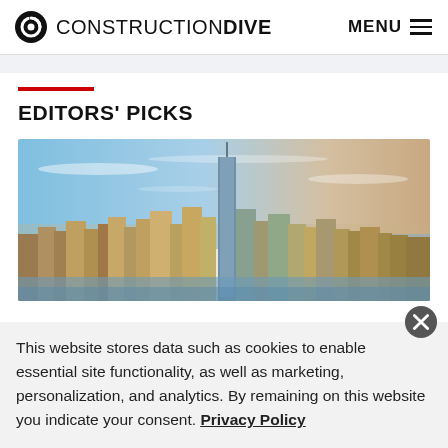CONSTRUCTION DIVE   MENU
EDITORS' PICKS
[Figure (photo): Aerial view of New York City skyline featuring One World Trade Center and surrounding skyscrapers with blue sky and water in the background]
This website stores data such as cookies to enable essential site functionality, as well as marketing, personalization, and analytics. By remaining on this website you indicate your consent. Privacy Policy